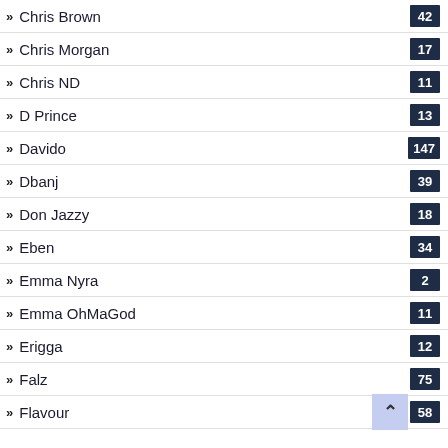Chris Brown 42
Chris Morgan 17
Chris ND 11
D Prince 13
Davido 147
Dbanj 39
Don Jazzy 18
Eben 34
Emma Nyra 2
Emma OhMaGod 11
Erigga 12
Falz 75
Flavour 58